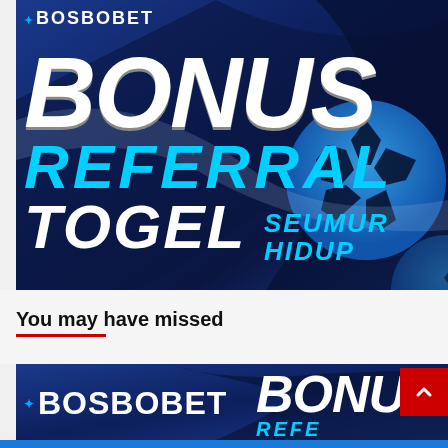[Figure (illustration): BOSBOBET promotional banner. Large text reads BONUS in white/gray, REFERRAL in cyan, TOGEL in white, SEUMUR HIDUP in cyan. Dark blue background with soccer ball graphic.]
You may have missed
[Figure (illustration): Partial BOSBOBET banner showing logo and partial BONUS REFERRAL text, with a red scroll-to-top button overlay.]